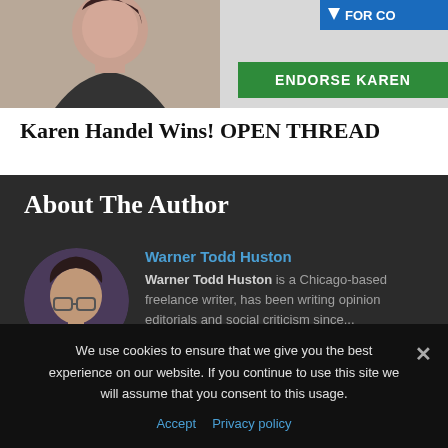[Figure (photo): Screenshot of a political website showing Karen Handel campaign image at top with 'FOR CO' and 'ENDORSE KAREN' banners]
Karen Handel Wins! OPEN THREAD
About The Author
[Figure (photo): Circular profile photo of Warner Todd Huston, a middle-aged man wearing glasses]
Warner Todd Huston
Warner Todd Huston is a Chicago-based freelance writer, has been writing opinion editorials and social criticism since...
We use cookies to ensure that we give you the best experience on our website. If you continue to use this site we will assume that you consent to this usage.
Accept  Privacy policy